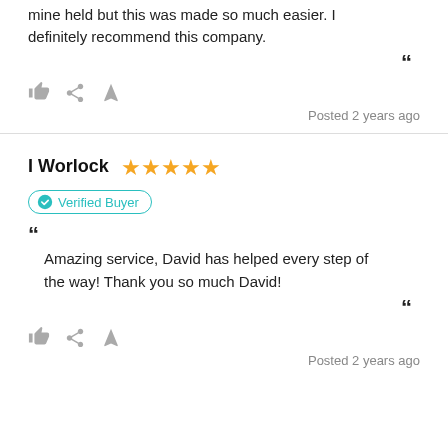mine held but this was made so much easier. I definitely recommend this company.
Posted 2 years ago
I Worlock ★★★★★
Verified Buyer
Amazing service, David has helped every step of the way! Thank you so much David!
Posted 2 years ago